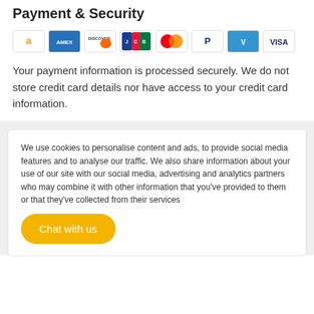Payment & Security
[Figure (logo): Payment method icons: Amazon, American Express, Discover, JCB, Mastercard, PayPal, Venmo, Visa]
Your payment information is processed securely. We do not store credit card details nor have access to your credit card information.
We use cookies to personalise content and ads, to provide social media features and to analyse our traffic. We also share information about your use of our site with our social media, advertising and analytics partners who may combine it with other information that you've provided to them or that they've collected from their services
Chat with us